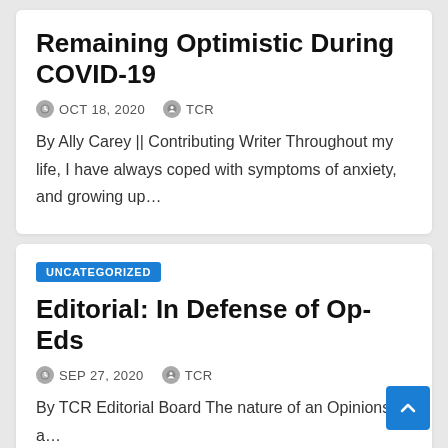Remaining Optimistic During COVID-19
OCT 18, 2020   TCR
By Ally Carey || Contributing Writer Throughout my life, I have always coped with symptoms of anxiety, and growing up…
UNCATEGORIZED
Editorial: In Defense of Op-Eds
SEP 27, 2020   TCR
By TCR Editorial Board The nature of an Opinions a…